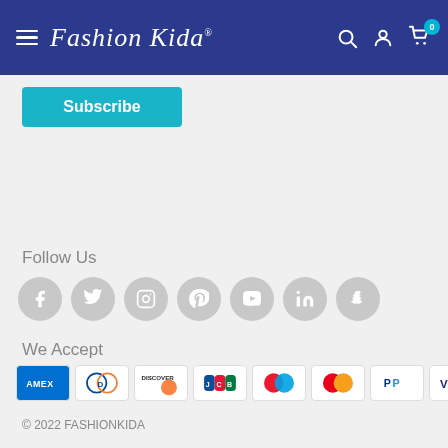FashionKida navigation bar with hamburger menu, logo, search, account, and cart icons
Subscribe
Follow Us
[Figure (illustration): Row of 7 social media icons: Facebook, Twitter, Instagram, Pinterest, YouTube, LinkedIn, Snapchat — all grey circles]
We Accept
[Figure (illustration): Row of 8 payment method logos: AMEX, Diners Club, Discover, JCB, Maestro, Mastercard, PayPal, VISA]
© 2022 FASHIONKIDA